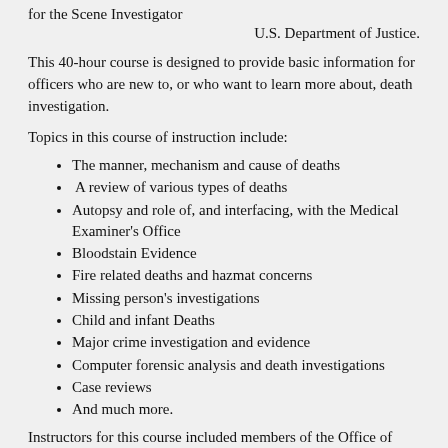for the Scene Investigator
U.S. Department of Justice.
This 40-hour course is designed to provide basic information for officers who are new to, or who want to learn more about, death investigation.
Topics in this course of instruction include:
The manner, mechanism and cause of deaths
A review of various types of deaths
Autopsy and role of, and interfacing, with the Medical Examiner's Office
Bloodstain Evidence
Fire related deaths and hazmat concerns
Missing person's investigations
Child and infant Deaths
Major crime investigation and evidence
Computer forensic analysis and death investigations
Case reviews
And much more.
Instructors for this course included members of the Office of